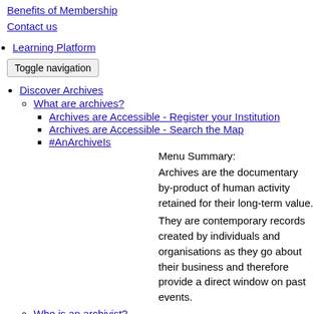Benefits of Membership
Contact us
Learning Platform
Toggle navigation
Discover Archives
What are archives?
Archives are Accessible - Register your Institution
Archives are Accessible - Search the Map
#AnArchiveIs
Menu Summary:
Archives are the documentary by-product of human activity retained for their long-term value.
They are contemporary records created by individuals and organisations as they go about their business and therefore provide a direct window on past events.
Who is an archivist?
Menu Summary: